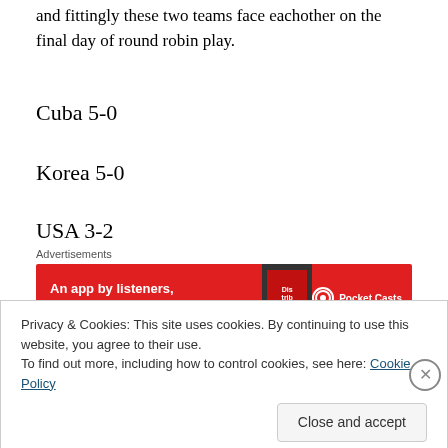and fittingly these two teams face eachother on the final day of round robin play.
Cuba 5-0
Korea 5-0
USA 3-2
[Figure (other): Advertisement banner for Pocket Casts app: red background with text 'An app by listeners, for listeners.' and Pocket Casts logo]
Japan 3-2
Privacy & Cookies: This site uses cookies. By continuing to use this website, you agree to their use. To find out more, including how to control cookies, see here: Cookie Policy
Close and accept